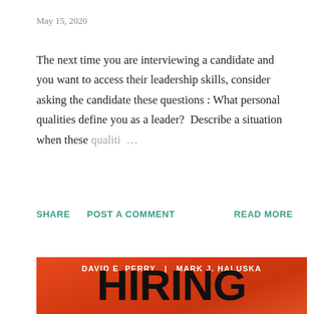May 15, 2020
The next time you are interviewing a candidate and you want to access their leadership skills, consider asking the candidate these questions : What personal qualities define you as a leader?  Describe a situation when these qualiti …
SHARE   POST A COMMENT   READ MORE
[Figure (illustration): Book cover on orange-red background with authors DAVID E. PERRY and MARK J. HALUSKA and large bold title text HIRING]